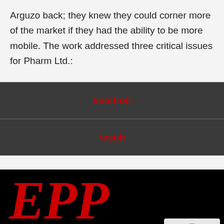Arguzo back; they knew they could corner more of the market if they had the ability to be more mobile. The work addressed three critical issues for Pharm Ltd.:
solution
result
[Figure (logo): EPP Corporation logo in large red italic serif font on black background, with white underline bar below the text and a striped pattern beneath]